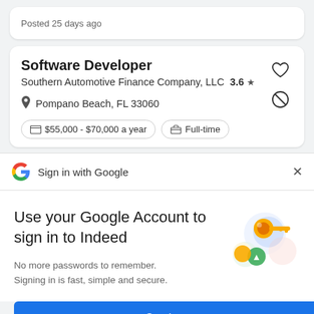Posted 25 days ago
Software Developer
Southern Automotive Finance Company, LLC  3.6 ★
Pompano Beach, FL 33060
$55,000 - $70,000 a year   Full-time
Sign in with Google
Use your Google Account to sign in to Indeed
No more passwords to remember. Signing in is fast, simple and secure.
Continue